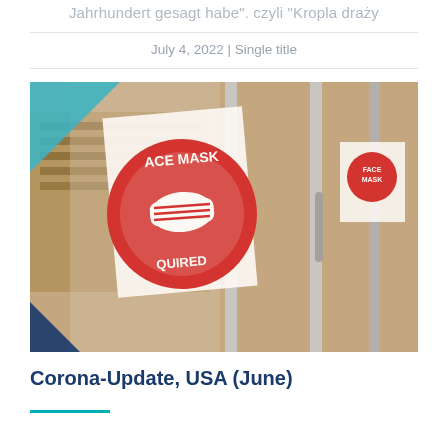Jahrhundert gesagt habe". czyli "Kropla draży
July 4, 2022 | Single title
[Figure (photo): Photo of a glass door with a red circular 'Face Mask Required' sign posted on it, with another similar sign visible through the glass panels behind.]
Corona-Update, USA (June)